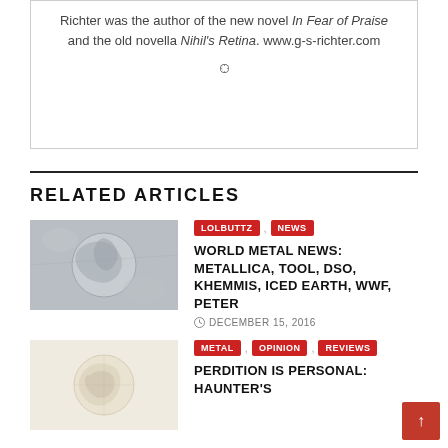Richter was the author of the new novel In Fear of Praise and the old novella Nihil's Retina. www.g-s-richter.com
[Figure (illustration): Globe/world icon]
RELATED ARTICLES
[Figure (photo): Thumbnail image for World Metal News article — grayscale photo]
LOLBUTTZ , NEWS
WORLD METAL NEWS: METALLICA, TOOL, DSO, KHEMMIS, ICED EARTH, WWF, PETER
DECEMBER 15, 2016
[Figure (illustration): Thumbnail image for Perdition Is Personal article — light colored illustration]
METAL , OPINION , REVIEWS
PERDITION IS PERSONAL: HAUNTER'S